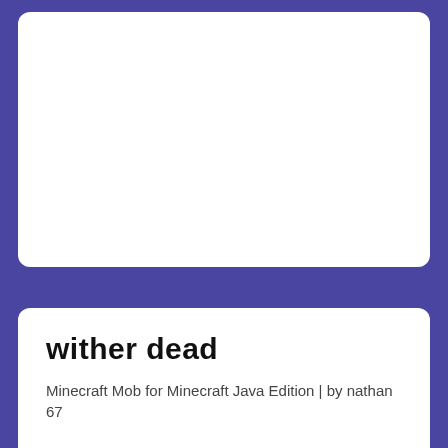[Figure (screenshot): White card area at top on purple background (Minecraft mob editor UI)]
wither dead
Minecraft Mob for Minecraft Java Edition | by nathan 67
wither dead was remixed from The Wither.
REMIX MOB
1
271.4k